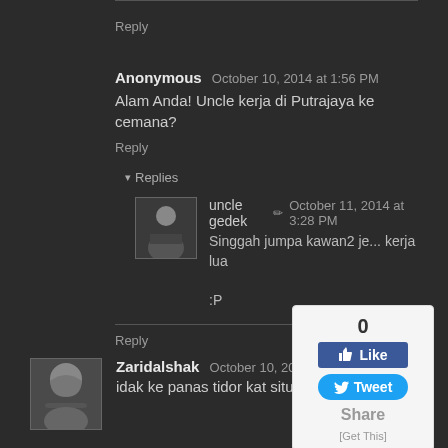Reply
Anonymous  October 10, 2014 at 1:56 PM
Alam Anda! Uncle kerja di Putrajaya ke cemana?
Reply
Replies
uncle gedek  October 11, 2014 at 3:28 PM
Singgah jumpa kawan2 je... kerja lua
:P
Reply
Zaridalshak  October 10, 2014 at 2:40 PM
idak ke panas tidor kat situ...
[Figure (screenshot): Social sharing widget showing 0 likes, a Facebook Like button (blue), a Twitter Tweet button (blue), a Share label, and [Get This] link]